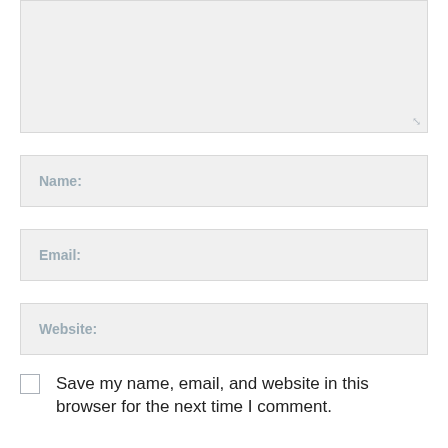[Figure (other): Large textarea input box with resize handle in bottom-right corner, light gray background]
Name:
Email:
Website:
Save my name, email, and website in this browser for the next time I comment.